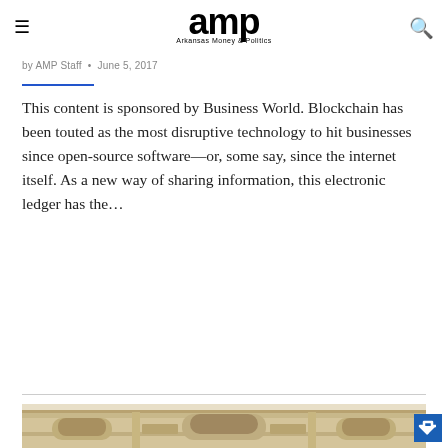amp — Arkansas Money & Politics
by AMP Staff • June 5, 2017
This content is sponsored by Business World. Blockchain has been touted as the most disruptive technology to hit businesses since open-source software—or, some say, since the internet itself. As a new way of sharing information, this electronic ledger has the…
READ MORE »
[Figure (photo): Exterior architectural detail of a stone building, likely a government or civic building, showing ornate stonework, arched window, and classical decorative elements.]